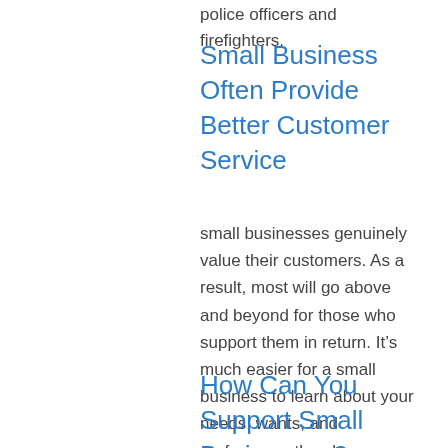police officers and firefighters.
Small Business Often Provide Better Customer Service
small businesses genuinely value their customers. As a result, most will go above and beyond for those who support them in return. It’s much easier for a small business to learn about your needs, wants, and preferences than larger businesses and provide you with personalized customer service.
How Can You Support Small Businesses?